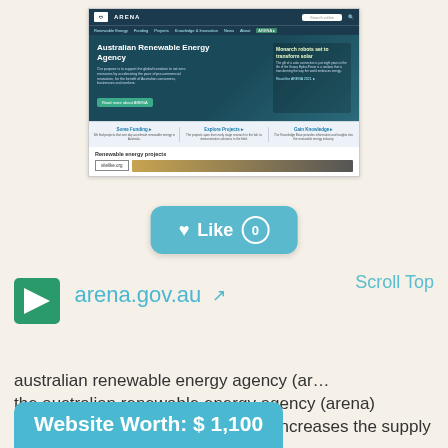[Figure (screenshot): Screenshot of the Australian Renewable Energy Agency (ARENA) website at arena.gov.au, showing navigation bar, hero section with headline 'Australian Renewable Energy Agency', description text, a green button, a right panel about 'Monarch robots set to transform solar', three card sections below (Some Funding, Explore Projects, Gain Knowledge), and a search field showing 'sitelike.org']
[Figure (other): A teal/cyan rounded button showing a heart icon followed by 'Like' text and a '0' count badge]
[Figure (logo): ARENA logo: white triangle/play icon on green square background]
arena.gov.au
Scroll Top
australian renewable energy agency (ar… the australian renewable energy agency (arena) improves the competitiveness and increases the supply of renewable energy in australia.
Website Worth: $ 1,100